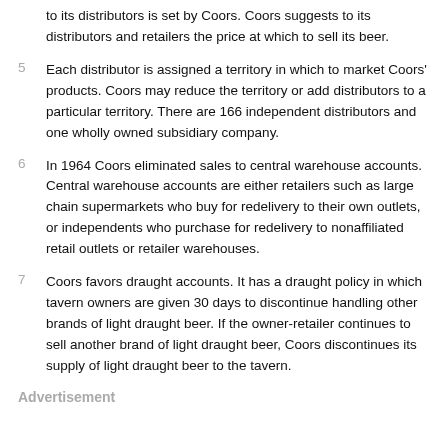to its distributors is set by Coors. Coors suggests to its distributors and retailers the price at which to sell its beer.
5  Each distributor is assigned a territory in which to market Coors' products. Coors may reduce the territory or add distributors to a particular territory. There are 166 independent distributors and one wholly owned subsidiary company.
6  In 1964 Coors eliminated sales to central warehouse accounts. Central warehouse accounts are either retailers such as large chain supermarkets who buy for redelivery to their own outlets, or independents who purchase for redelivery to nonaffiliated retail outlets or retailer warehouses.
7  Coors favors draught accounts. It has a draught policy in which tavern owners are given 30 days to discontinue handling other brands of light draught beer. If the owner-retailer continues to sell another brand of light draught beer, Coors discontinues its supply of light draught beer to the tavern.
Advertisement